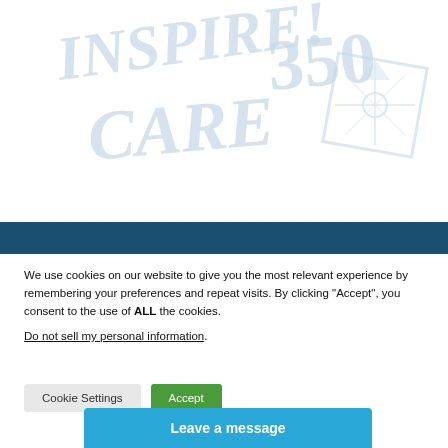[Figure (logo): Watermark logo text reading INSPIRE! 350 CARE in light blue/grey script style, with a decorative emblem on the right side]
We use cookies on our website to give you the most relevant experience by remembering your preferences and repeat visits. By clicking “Accept”, you consent to the use of ALL the cookies.
Do not sell my personal information.
Cookie Settings
Accept
Leave a message